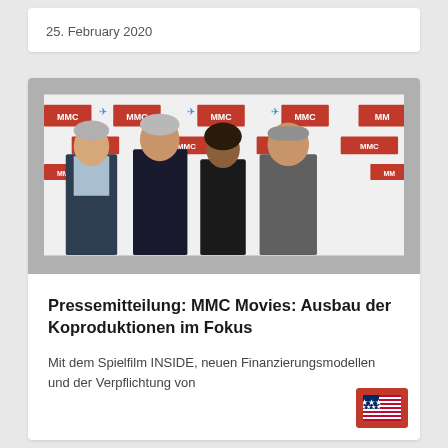25. February 2020
[Figure (photo): Four people standing in front of an MMC branded step-and-repeat backdrop. From left: a man in a dark suit with light blue shirt, a man in a dark jacket, a woman in a dark dress, and a man in a grey shirt.]
Pressemitteilung: MMC Movies: Ausbau der Koproduktionen im Fokus
Mit dem Spielfilm INSIDE, neuen Finanzierungsmodellen und der Verpflichtung von